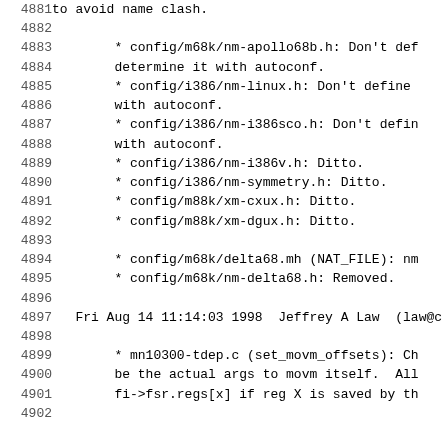Code listing lines 4881-4902 showing changelog entries for config files and mn10300-tdep.c